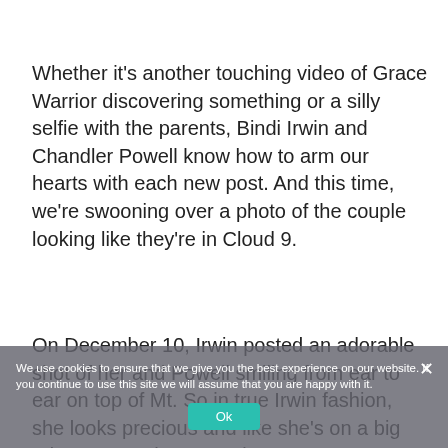Whether it's another touching video of Grace Warrior discovering something or a silly selfie with the parents, Bindi Irwin and Chandler Powell know how to arm our hearts with each new post. And this time, we're swooning over a photo of the couple looking like they're in Cloud 9.
On December 10, Irwin posted an adorable shot of her and Powell smiling from ear to ear on top of Mt. So in true Irwin fashion, she looks precious and like she's on a big adventure at the same time.
We use cookies to ensure that we give you the best experience on our website. If you continue to use this site we will assume that you are happy with it.
Ok